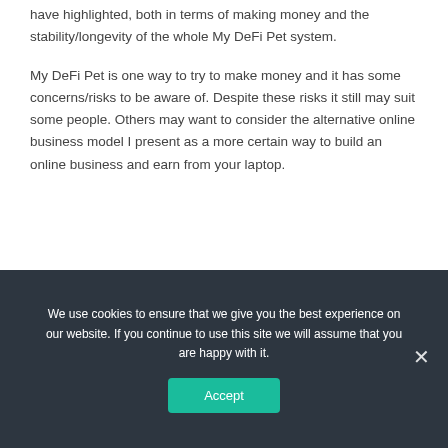have highlighted, both in terms of making money and the stability/longevity of the whole My DeFi Pet system.
My DeFi Pet is one way to try to make money and it has some concerns/risks to be aware of. Despite these risks it still may suit some people. Others may want to consider the alternative online business model I present as a more certain way to build an online business and earn from your laptop.
We use cookies to ensure that we give you the best experience on our website. If you continue to use this site we will assume that you are happy with it.